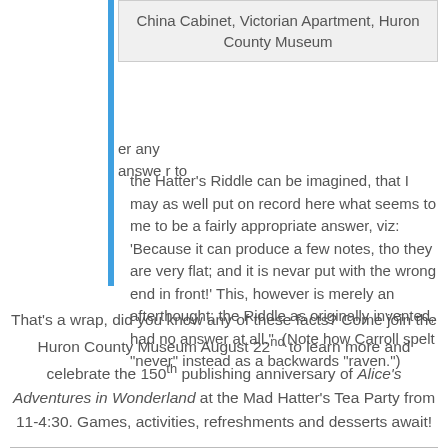| China Cabinet, Victorian Apartment, Huron County Museum |
er any answer to
the Hatter's Riddle can be imagined, that I may as well put on record here what seems to me to be a fairly appropriate answer, viz: 'Because it can produce a few notes, tho they are very flat; and it is nevar put with the wrong end in front!' This, however is merely an afterthought; the Riddle as originally invented, had no answer at all."  (Note how Carroll spelt "never" instead as a backwards "raven.")
That's a wrap, did you know any of these facts? Come join the Huron County Museum August 22nd to learn more and celebrate the 150th publishing anniversary of Alice's Adventures in Wonderland at the Mad Hatter's Tea Party from 11-4:30. Games, activities, refreshments and desserts await!